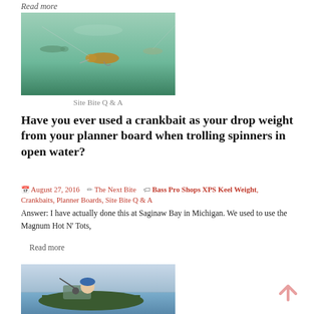Read more
[Figure (photo): Underwater photo showing crankbait lures swimming, green-tinted water]
Site Bite Q & A
Have you ever used a crankbait as your drop weight from your planner board when trolling spinners in open water?
August 27, 2016  The Next Bite  Bass Pro Shops XPS Keel Weight, Crankbaits, Planner Boards, Site Bite Q & A
Answer: I have actually done this at Saginaw Bay in Michigan. We used to use the Magnum Hot N' Tots,
Read more
[Figure (photo): Man in blue cap fishing from a boat on a lake]